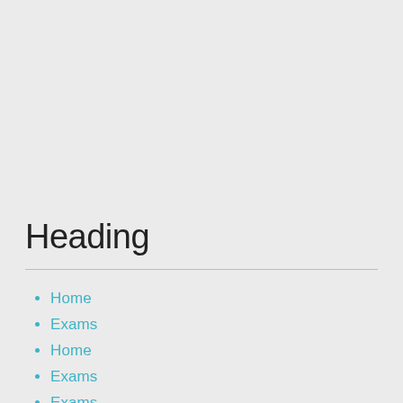Heading
Home
Exams
Home
Exams
Exams